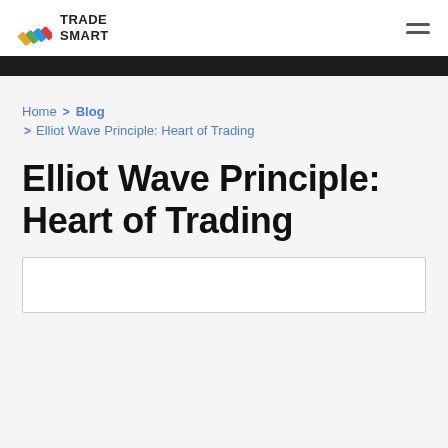TRADE SMART
Home > Blog > Elliot Wave Principle: Heart of Trading
Elliot Wave Principle: Heart of Trading
[Figure (other): Partial image box at the bottom of the page, content not visible]